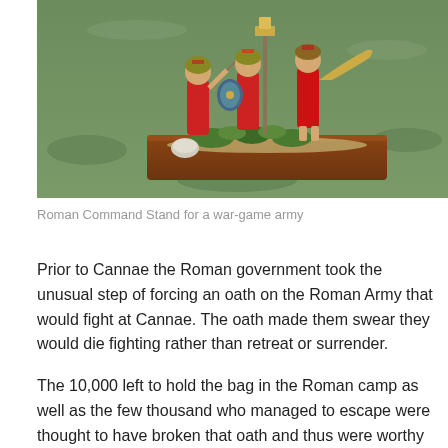[Figure (photo): Photo of a Roman Command Stand miniature diorama for a war-game army. Several painted Roman soldier figurines in red cloaks and armor, holding shields and weapons, mounted on a rectangular base with green foliage, set against a green grassy background.]
Roman Command Stand for a war-game army
Prior to Cannae the Roman government took the unusual step of forcing an oath on the Roman Army that would fight at Cannae. The oath made them swear they would die fighting rather than retreat or surrender.
The 10,000 left to hold the bag in the Roman camp as well as the few thousand who managed to escape were thought to have broken that oath and thus were worthy of disgrace and exile to Sicily. The Roman General Varro did